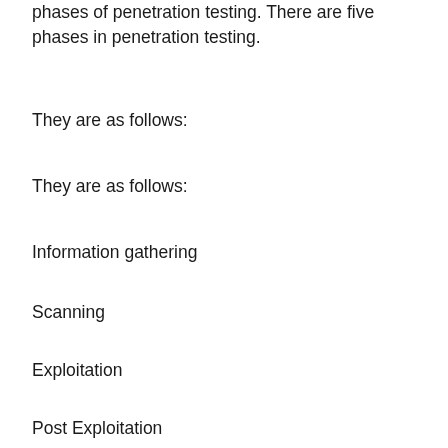phases of penetration testing. There are five phases in penetration testing.
They are as follows:
They are as follows:
Information gathering
Scanning
Exploitation
Post Exploitation